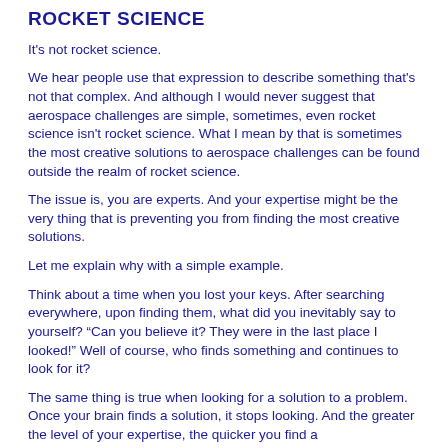ROCKET SCIENCE
It's not rocket science.
We hear people use that expression to describe something that's not that complex. And although I would never suggest that aerospace challenges are simple, sometimes, even rocket science isn't rocket science. What I mean by that is sometimes the most creative solutions to aerospace challenges can be found outside the realm of rocket science.
The issue is, you are experts. And your expertise might be the very thing that is preventing you from finding the most creative solutions.
Let me explain why with a simple example.
Think about a time when you lost your keys. After searching everywhere, upon finding them, what did you inevitably say to yourself? “Can you believe it? They were in the last place I looked!” Well of course, who finds something and continues to look for it?
The same thing is true when looking for a solution to a problem. Once your brain finds a solution, it stops looking. And the greater the level of your expertise, the quicker you find a